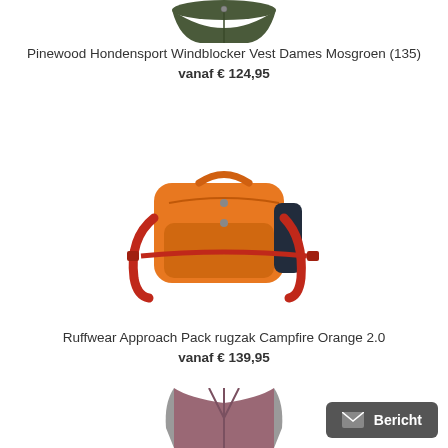[Figure (photo): Partially visible dark olive/green vest product image at top of page]
Pinewood Hondensport Windblocker Vest Dames Mosgroen (135)
vanaf € 124,95
[Figure (photo): Orange Ruffwear Approach Pack dog backpack/harness]
Ruffwear Approach Pack rugzak Campfire Orange 2.0
vanaf € 139,95
[Figure (photo): Partially visible mauve/pink vest product image at bottom of page]